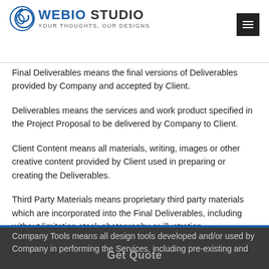[Figure (logo): Webio Studio logo with swirl icon, text 'WEBIO STUDIO' and tagline 'YOUR THOUGHTS, OUR DESIGNS']
Final Deliverables means the final versions of Deliverables provided by Company and accepted by Client.
Deliverables means the services and work product specified in the Project Proposal to be delivered by Company to Client.
Client Content means all materials, writing, images or other creative content provided by Client used in preparing or creating the Deliverables.
Third Party Materials means proprietary third party materials which are incorporated into the Final Deliverables, including without limitation stock photography or illustration.
Company Tools means all design tools developed and/or used by Company in performing the Services, including pre-existing and